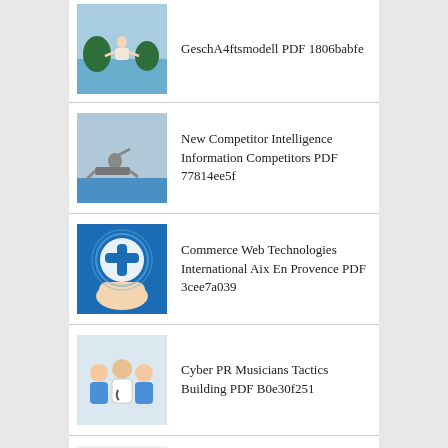GeschA4ftsmodell PDF 1806babfe
New Competitor Intelligence Information Competitors PDF 77814ee5f
Commerce Web Technologies International Aix En Provence PDF 3cee7a039
Cyber PR Musicians Tactics Building PDF B0e30f251
Role Based Access Control David Ferraiolo PDF 6b76a0f09
GroundWork Foundation Mr Benjamin Warsinske PDF D2a27aa9e